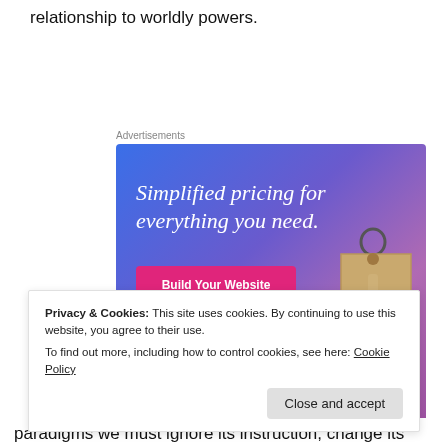relationship to worldly powers.
Advertisements
[Figure (infographic): Advertisement banner with gradient blue-purple background. Headline: 'Simplified pricing for everything you need.' Pink button labeled 'Build Your Website'. Decorative price tag graphic on the right.]
Privacy & Cookies: This site uses cookies. By continuing to use this website, you agree to their use.
To find out more, including how to control cookies, see here: Cookie Policy
paradigms we must ignore its instruction, change its